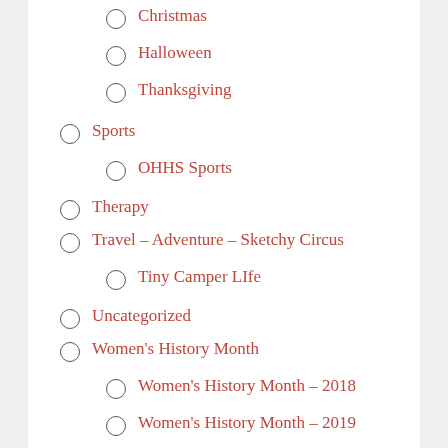Christmas
Halloween
Thanksgiving
Sports
OHHS Sports
Therapy
Travel – Adventure – Sketchy Circus
Tiny Camper LIfe
Uncategorized
Women's History Month
Women's History Month – 2018
Women's History Month – 2019
Women's History Month – 2021